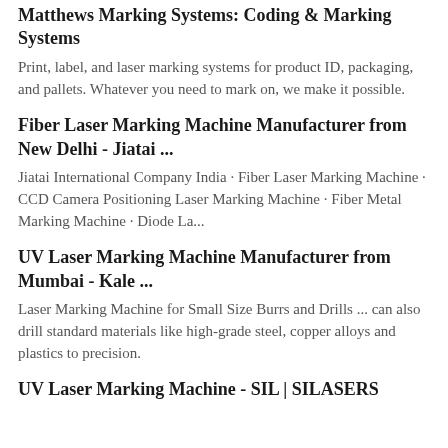Matthews Marking Systems: Coding & Marking Systems
Print, label, and laser marking systems for product ID, packaging, and pallets. Whatever you need to mark on, we make it possible.
Fiber Laser Marking Machine Manufacturer from New Delhi - Jiatai ...
Jiatai International Company India · Fiber Laser Marking Machine · CCD Camera Positioning Laser Marking Machine · Fiber Metal Marking Machine · Diode La...
UV Laser Marking Machine Manufacturer from Mumbai - Kale ...
Laser Marking Machine for Small Size Burrs and Drills ... can also drill standard materials like high-grade steel, copper alloys and plastics to precision.
UV Laser Marking Machine - SIL | SILASERS